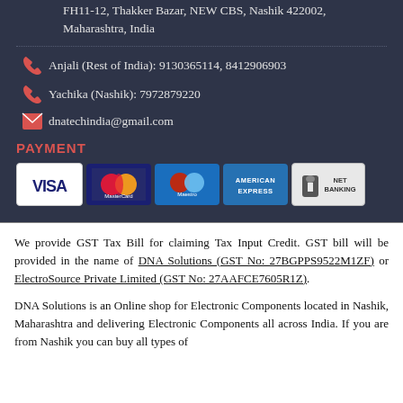FH11-12, Thakker Bazar, NEW CBS, Nashik 422002, Maharashtra, India
Anjali (Rest of India): 9130365114, 8412906903
Yachika (Nashik): 7972879220
dnatechindia@gmail.com
PAYMENT
[Figure (other): Payment method icons: VISA, MasterCard, Maestro, American Express, Net Banking]
We provide GST Tax Bill for claiming Tax Input Credit. GST bill will be provided in the name of DNA Solutions (GST No: 27BGPPS9522M1ZF) or ElectroSource Private Limited (GST No: 27AAFCE7605R1Z).
DNA Solutions is an Online shop for Electronic Components located in Nashik, Maharashtra and delivering Electronic Components all across India. If you are from Nashik you can buy all types of